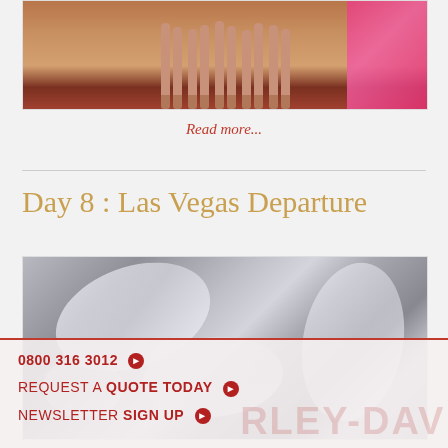[Figure (photo): Cropped photo showing dancers' legs and feet in heeled shoes on a stage, with pink feathered costumes visible on the right side]
Read more...
Day 8 : Las Vegas Departure
[Figure (photo): Close-up photo of chrome motorcycle parts, likely Harley-Davidson, with reflective metallic surfaces]
0800 316 3012 ❯
REQUEST A QUOTE TODAY ❯
NEWSLETTER SIGN UP ❯